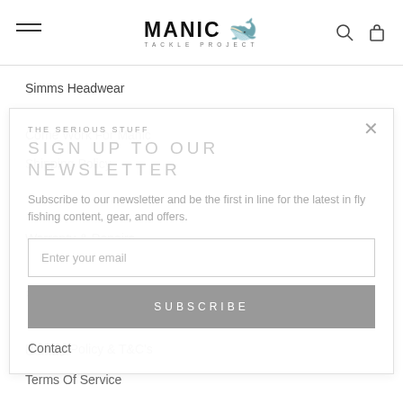MANIC TACKLE PROJECT
Simms Headwear
Come Work For Manic
Shipping Policy
Warranty & Repairs
Returns & Refunds
Privacy Policy & T&C's
Terms Of Service
Contact
THE SERIOUS STUFF
SIGN UP TO OUR NEWSLETTER
Subscribe to our newsletter and be the first in line for the latest in fly fishing content, gear, and offers.
Enter your email
SUBSCRIBE